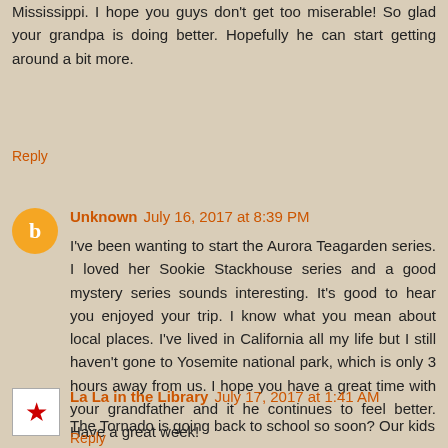Mississippi. I hope you guys don't get too miserable! So glad your grandpa is doing better. Hopefully he can start getting around a bit more.
Reply
Unknown July 16, 2017 at 8:39 PM
I've been wanting to start the Aurora Teagarden series. I loved her Sookie Stackhouse series and a good mystery series sounds interesting. It's good to hear you enjoyed your trip. I know what you mean about local places. I've lived in California all my life but I still haven't gone to Yosemite national park, which is only 3 hours away from us. I hope you have a great time with your grandfather and it he continues to feel better. Have a great week!
Reply
La La in the Library July 17, 2017 at 1:41 AM
The Tornado is going back to school so soon? Our kids